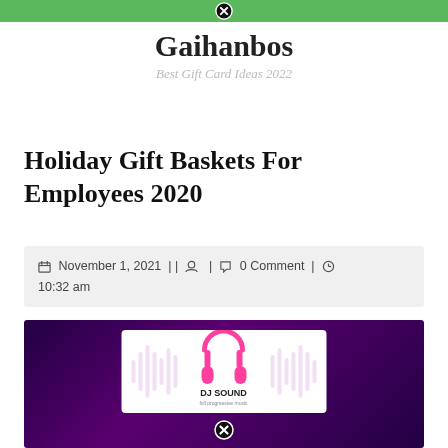Gaihanbos — Best Gift Card Ideas 2022
Holiday Gift Baskets For Employees 2020
November 1, 2021 | | [user icon] | [comment icon] 0 Comment | [clock icon] 10:32 am
[Figure (illustration): DJ Sound card with pink headphones and sound wave graphic on a dark purple background, with a secondary close-button overlay at the bottom]